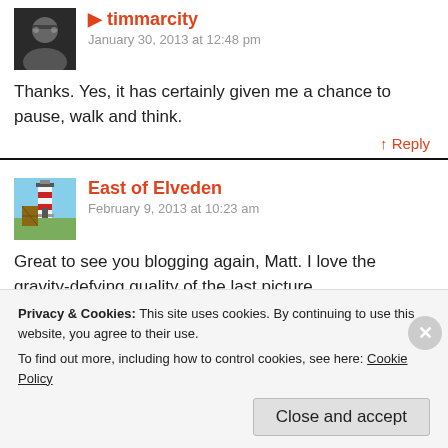[Figure (photo): Avatar photo of a person with glasses]
timmarcity
January 30, 2013 at 12:48 pm
Thanks. Yes, it has certainly given me a chance to pause, walk and think.
↑ Reply
[Figure (photo): Avatar photo showing a lighthouse]
East of Elveden
February 9, 2013 at 10:23 am
Great to see you blogging again, Matt. I love the gravity-defying quality of the last picture.
Privacy & Cookies: This site uses cookies. By continuing to use this website, you agree to their use.
To find out more, including how to control cookies, see here: Cookie Policy
Close and accept